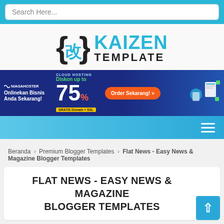[Figure (screenshot): Search bar input field with placeholder 'Search Here...' on a cyan/blue background]
[Figure (logo): Kaizen Template logo with curly-brace kanji icon and text 'KAIZEN TEMPLATE']
[Figure (infographic): Niagahoster cloud hosting advertisement banner: 'Onlinekan Bisnis Anda Sekarang! Cloud Hosting Diskon up to 75% GRATIS Domain + SSL. Order Sekarang!']
[Figure (screenshot): Blue navigation bar with hamburger menu icon on the right]
Beranda › Premium Blogger Templates › Flat News - Easy News & Magazine Blogger Templates
FLAT NEWS - EASY NEWS & MAGAZINE BLOGGER TEMPLATES